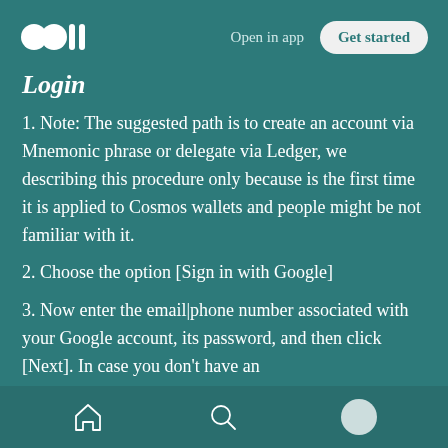Open in app | Get started
Login
1. Note: The suggested path is to create an account via Mnemonic phrase or delegate via Ledger, we describing this procedure only because is the first time it is applied to Cosmos wallets and people might be not familiar with it.
2. Choose the option [Sign in with Google]
3. Now enter the email|phone number associated with your Google account, its password, and then click [Next]. In case you don't have an
Home | Search | Profile